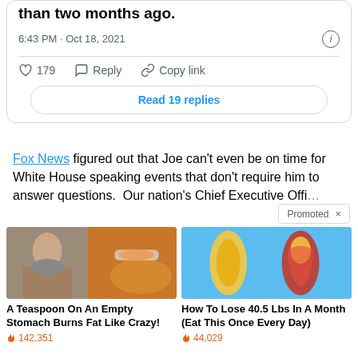than two months ago.
6:43 PM · Oct 18, 2021
179  Reply  Copy link
Read 19 replies
Fox News figured out that Joe can't even be on time for White House speaking events that don't require him to answer questions. Our nation's Chief Executive Offi...
Promoted ×
[Figure (photo): Advertisement image: woman showing abs next to spoon of spice powder]
A Teaspoon On An Empty Stomach Burns Fat Like Crazy!
🔥 142,351
[Figure (photo): Advertisement image: medical illustration showing leg fat and muscle comparison]
How To Lose 40.5 Lbs In A Month (Eat This Once Every Day)
🔥 44,029